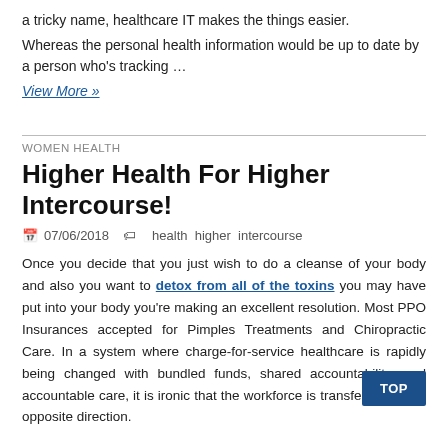a tricky name, healthcare IT makes the things easier.
Whereas the personal health information would be up to date by a person who's tracking …
View More »
WOMEN HEALTH
Higher Health For Higher Intercourse!
07/06/2018   health  higher  intercourse
Once you decide that you just wish to do a cleanse of your body and also you want to detox from all of the toxins you may have put into your body you're making an excellent resolution. Most PPO Insurances accepted for Pimples Treatments and Chiropractic Care. In a system where charge-for-service healthcare is rapidly being changed with bundled funds, shared accountability, and accountable care, it is ironic that the workforce is transferring in the opposite direction.